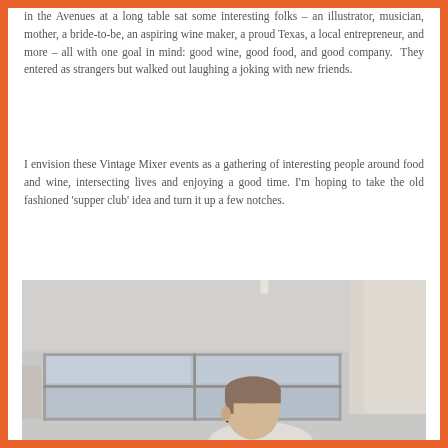in the Avenues at a long table sat some interesting folks – an illustrator, musician, mother, a bride-to-be, an aspiring wine maker, a proud Texas, a local entrepreneur, and more – all with one goal in mind: good wine, good food, and good company.  They entered as strangers but walked out laughing a joking with new friends.
I envision these Vintage Mixer events as a gathering of interesting people around food and wine, intersecting lives and enjoying a good time. I'm hoping to take the old fashioned 'supper club' idea and turn it up a few notches.
[Figure (photo): A man with glasses and short brown hair looking downward, photographed in an interior room with large windows and white/grey walls. The photo is taken from a slightly elevated angle showing the top of his head and face in profile.]